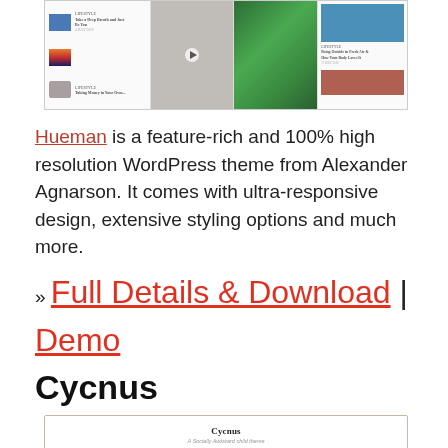[Figure (screenshot): Screenshot of the Hueman WordPress theme showing a multi-column blog layout with thumbnail images, a video thumbnail with play button, a green drink photo, and a blue/food image column on the right.]
Hueman is a feature-rich and 100% high resolution WordPress theme from Alexander Agnarson. It comes with ultra-responsive design, extensive styling options and much more.
» Full Details & Download | Demo
Cycnus
[Figure (screenshot): Screenshot of Cycnus WordPress theme preview showing the title 'Cycnus' and subtitle 'A Socially Awkward child theme'.]